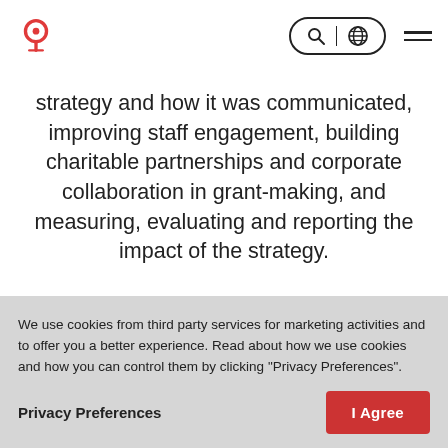Navigation header with logo, search/globe button, and hamburger menu
strategy and how it was communicated, improving staff engagement, building charitable partnerships and corporate collaboration in grant-making, and measuring, evaluating and reporting the impact of the strategy.
Stuart was commissioned into the army
We use cookies from third party services for marketing activities and to offer you a better experience. Read about how we use cookies and how you can control them by clicking "Privacy Preferences".
Privacy Preferences
I Agree